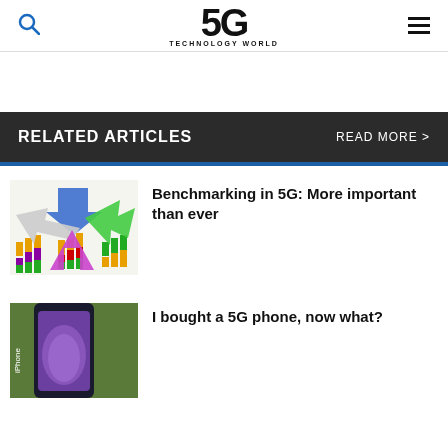5G TECHNOLOGY WORLD
RELATED ARTICLES   READ MORE >
[Figure (screenshot): Benchmarking chart thumbnail with colored bar charts and arrows]
Benchmarking in 5G: More important than ever
[Figure (photo): iPhone 5G phone photo]
I bought a 5G phone, now what?